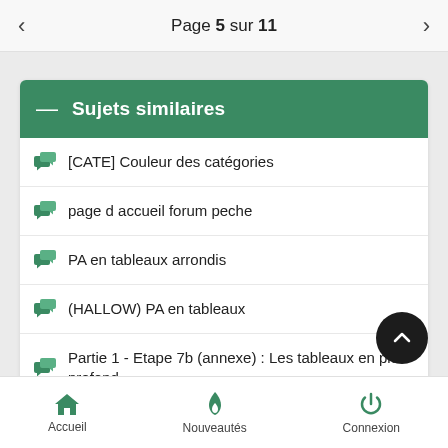Page 5 sur 11
Sujets similaires
[CATE] Couleur des catégories
page d accueil forum peche
PA en tableaux arrondis
(HALLOW) PA en tableaux
Partie 1 - Etape 7b (annexe) : Les tableaux en plus profond
Accueil   Nouveautés   Connexion